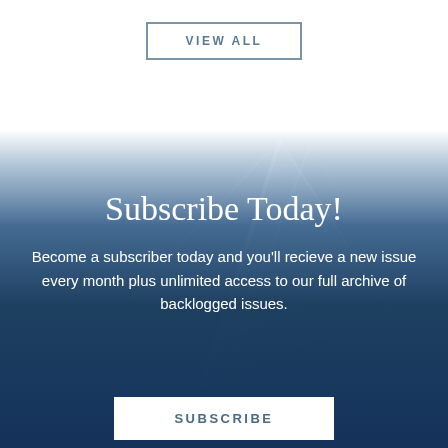VIEW ALL
[Figure (photo): Dark blue nautical background with diagonal mast/sail shapes, gradients from white at top to deep navy blue at bottom]
Subscribe Today!
Become a subscriber today and you'll recieve a new issue every month plus unlimited access to our full archive of backlogged issues.
SUBSCRIBE